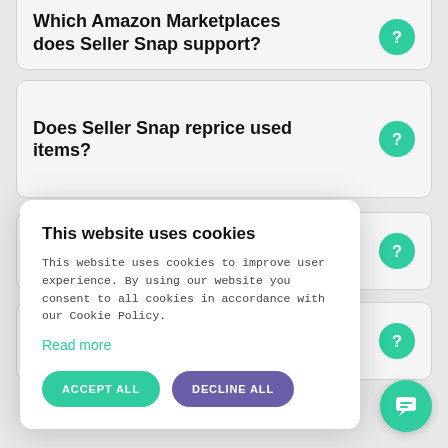Which Amazon Marketplaces does Seller Snap support?
Does Seller Snap reprice used items?
Does Seller Snap support FTP?
open
This website uses cookies
This website uses cookies to improve user experience. By using our website you consent to all cookies in accordance with our Cookie Policy.
Read more
ACCEPT ALL
DECLINE ALL